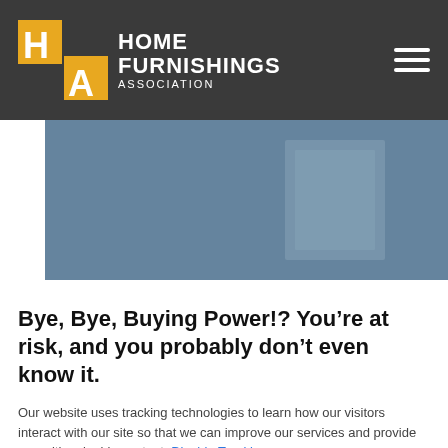HOME FURNISHINGS ASSOCIATION
[Figure (photo): A blurred interior photo with blue-gray tones showing what appears to be a room or office setting]
Bye, Bye, Buying Power!? You’re at risk, and you probably don’t even know it.
Our website uses tracking technologies to learn how our visitors interact with our site so that we can improve our services and provide you with valuable content. Disable Tracking.